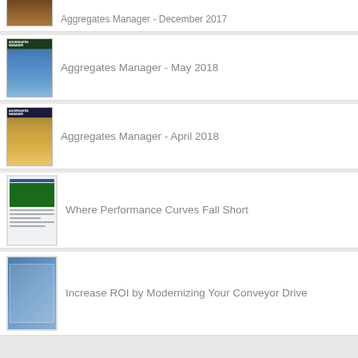Aggregates Manager - December 2017
Aggregates Manager - May 2018
Aggregates Manager - April 2018
Where Performance Curves Fall Short
Increase ROI by Modernizing Your Conveyor Drive